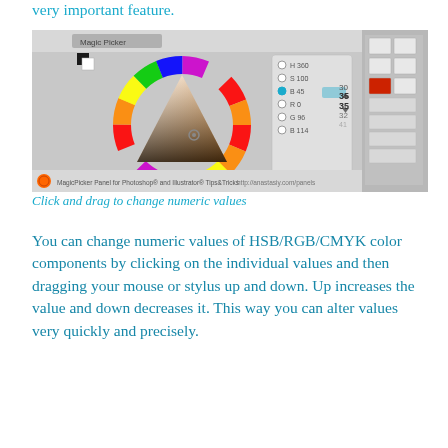very important feature.
[Figure (screenshot): Screenshot of MagicPicker panel for Photoshop and Illustrator showing a color wheel with HSB/RGB/CMYK value sliders and color picker interface]
Click and drag to change numeric values
You can change numeric values of HSB/RGB/CMYK color components by clicking on the individual values and then dragging your mouse or stylus up and down. Up increases the value and down decreases it. This way you can alter values very quickly and precisely.